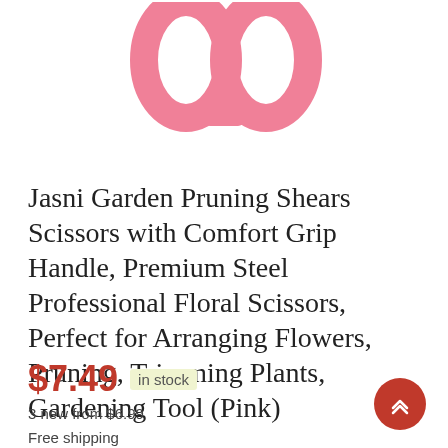[Figure (photo): Pink pruning shears/scissors with comfort grip handles, partially cropped at top of page showing only the handle portion in pink color]
Jasni Garden Pruning Shears Scissors with Comfort Grip Handle, Premium Steel Professional Floral Scissors, Perfect for Arranging Flowers, Pruning, Trimming Plants, Gardening Tool (Pink)
$7.49  in stock
3 new from $6.99
Free shipping